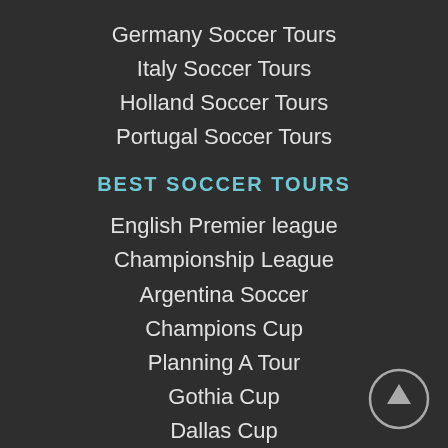Germany Soccer Tours
Italy Soccer Tours
Holland Soccer Tours
Portugal Soccer Tours
BEST SOCCER TOURS
English Premier league
Championship League
Argentina Soccer
Champions Cup
Planning A Tour
Gothia Cup
Dallas Cup
[Figure (illustration): Circular up-arrow button icon in the bottom right corner]